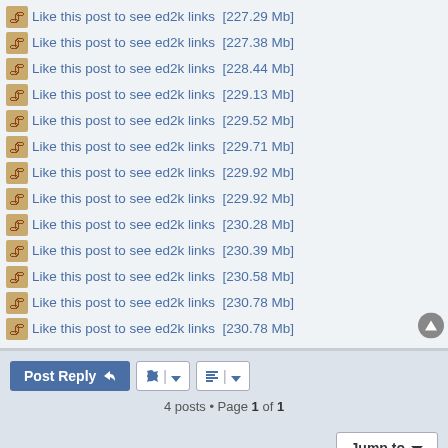Like this post to see ed2k links  [227.29 Mb]
Like this post to see ed2k links  [227.38 Mb]
Like this post to see ed2k links  [228.44 Mb]
Like this post to see ed2k links  [229.13 Mb]
Like this post to see ed2k links  [229.52 Mb]
Like this post to see ed2k links  [229.71 Mb]
Like this post to see ed2k links  [229.92 Mb]
Like this post to see ed2k links  [229.92 Mb]
Like this post to see ed2k links  [230.28 Mb]
Like this post to see ed2k links  [230.39 Mb]
Like this post to see ed2k links  [230.58 Mb]
Like this post to see ed2k links  [230.78 Mb]
Like this post to see ed2k links  [230.78 Mb]
Post Reply
4 posts • Page 1 of 1
Jump to
Board index   Contact us   Delete cookies   All times are UTC+01:00
Powered by phpBB® Forum Software © phpBB Limited
Style by Arty - phpBB 3.3 by MrGaby
Privacy | Terms